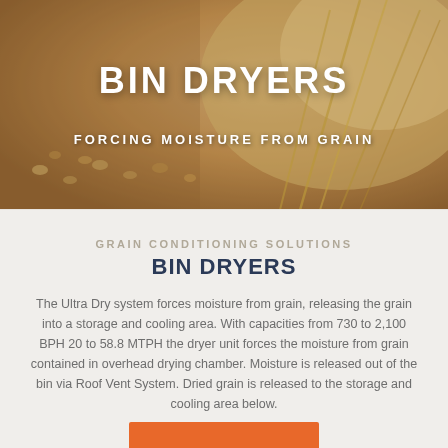[Figure (photo): Hero image of grain (wheat/barley) with golden tones, used as background for the header section]
BIN DRYERS
FORCING MOISTURE FROM GRAIN
GRAIN CONDITIONING SOLUTIONS
BIN DRYERS
The Ultra Dry system forces moisture from grain, releasing the grain into a storage and cooling area. With capacities from 730 to 2,100 BPH 20 to 58.8 MTPH the dryer unit forces the moisture from grain contained in overhead drying chamber. Moisture is released out of the bin via Roof Vent System. Dried grain is released to the storage and cooling area below.